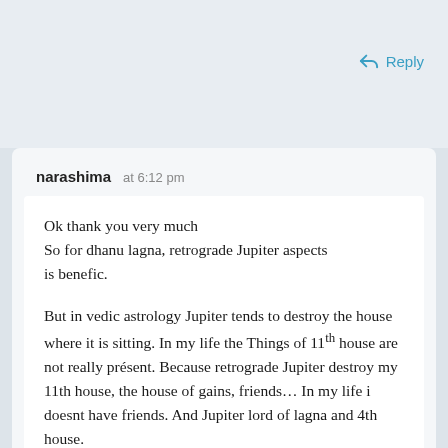Reply
narashima  at 6:12 pm
Ok thank you very much
So for dhanu lagna, retrograde Jupiter aspects is benefic.

But in vedic astrology Jupiter tends to destroy the house where it is sitting. In my life the Things of 11th house are not really présent. Because retrograde Jupiter destroy my 11th house, the house of gains, friends… In my life i doesnt have friends. And Jupiter lord of lagna and 4th house.

Thank you very much